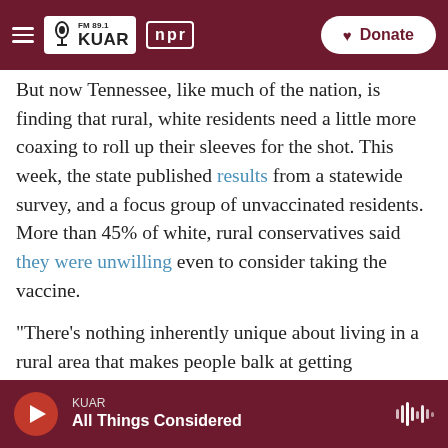FM 89.1 KUAR | npr | Donate
But now Tennessee, like much of the nation, is finding that rural, white residents need a little more coaxing to roll up their sleeves for the shot. This week, the state published results from a statewide survey, and a focus group of unvaccinated residents. More than 45% of white, rural conservatives said they were unwilling even to consider taking the vaccine.
"There's nothing inherently unique about living in a rural area that makes people balk at getting vaccinated. It's just that rural areas have a larger share of people in the most vaccine-resistant
KUAR | All Things Considered